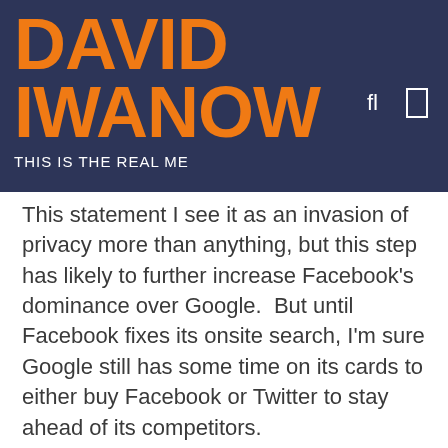DAVID IWANOW
THIS IS THE REAL ME
This statement I see it as an invasion of privacy more than anything, but this step has likely to further increase Facebook's dominance over Google.  But until Facebook fixes its onsite search, I'm sure Google still has some time on its cards to either buy Facebook or Twitter to stay ahead of its competitors.
It is also too soon to know if this campaign is